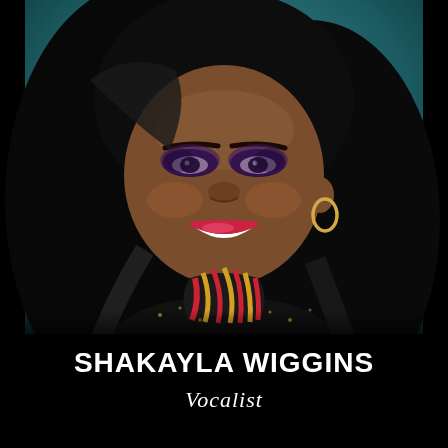[Figure (photo): Professional headshot of Shakayla Wiggins, a smiling African-American woman with long black wavy hair, wearing dramatic purple eye makeup, red lipstick, gold hoop earrings, and a black sequined top with red and gold stripe pattern at the collar. Background is a dark teal/green.]
SHAKAYLA WIGGINS
Vocalist